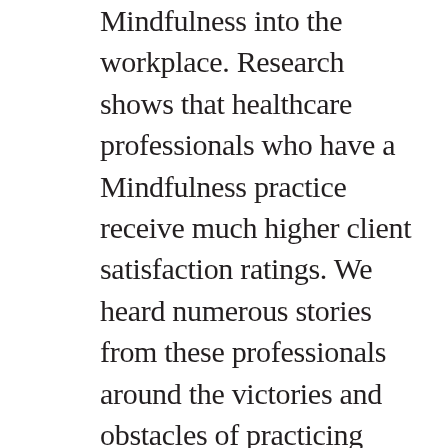Mindfulness into the workplace. Research shows that healthcare professionals who have a Mindfulness practice receive much higher client satisfaction ratings. We heard numerous stories from these professionals around the victories and obstacles of practicing Mindfulness. We are passionate about helping healthcare systems cultivate a mindful environment for patients, their families, and the professionals who serve them. Invite us to bring Mindfulness to your organization! #mindfulness #mindful